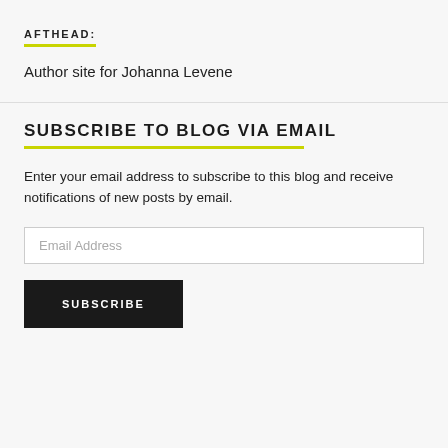AFTHEAD:
Author site for Johanna Levene
SUBSCRIBE TO BLOG VIA EMAIL
Enter your email address to subscribe to this blog and receive notifications of new posts by email.
Email Address
SUBSCRIBE